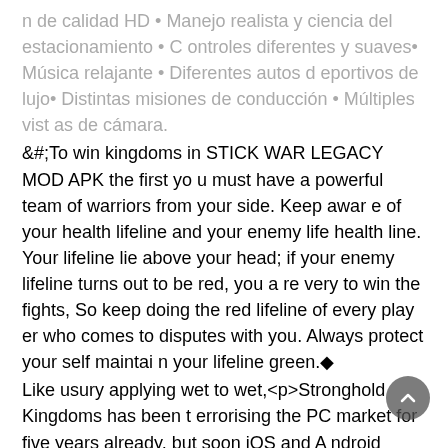n de calidad HD • Manejo realista y ciencia del estacionamiento • Controles diferentes y suaves• Música relajante • Diferentes autos deportivos de lujo• Distintas misiones de conducción • Múltiples vistas de cámara.
&#;To win kingdoms in STICK WAR LEGACY MOD APK the first you must have a powerful team of warriors from your side. Keep aware of your health lifeline and your enemy life health line. Your lifeline lie above your head; if your enemy lifeline turns out to be red, you are very to win the fights, So keep doing the red lifeline of every player who comes to disputes with you. Always protect your self maintain your lifeline green.◆
Like usury applying wet to wet,<p>Stronghold Kingdoms has been terrorising the PC market for five years already, but soon iOS and Android players will be able to get in on the free to play, empire assembling action too.</p><p>With cross play between those versions and the Mac edition, there's fun for all the MMOing family.</p><p>New players will get protection, so they're not slaughtered by the ol